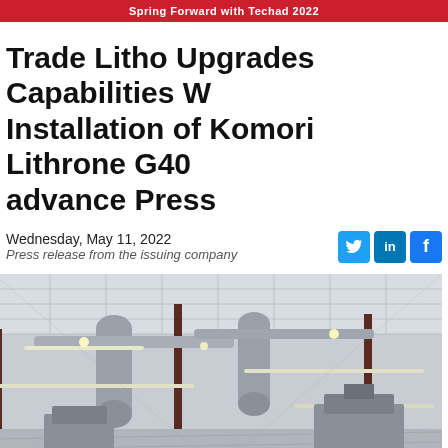Spring Forward with Techad 2022
Trade Litho Upgrades Capabilities With Installation of Komori Lithrone G40 advance Press
Wednesday, May 11, 2022
Press release from the issuing company
[Figure (photo): Interior of a large industrial printing facility warehouse with exposed ceiling ducts, steel beams, fluorescent lighting strips, and concrete floor with printing equipment visible in the background.]